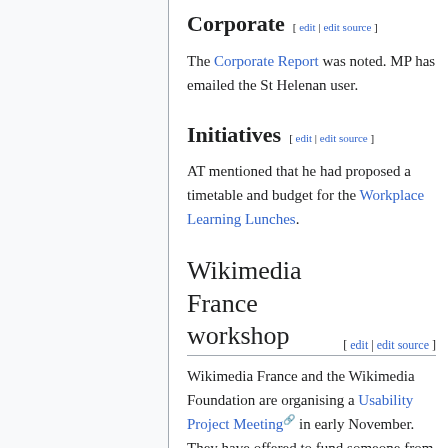Corporate [ edit | edit source ]
The Corporate Report was noted. MP has emailed the St Helenan user.
Initiatives [ edit | edit source ]
AT mentioned that he had proposed a timetable and budget for the Workplace Learning Lunches.
Wikimedia France workshop [ edit | edit source ]
Wikimedia France and the Wikimedia Foundation are organising a Usability Project Meeting in early November. They have offered to fund someone from the UK attending - who should be technically active but needn't be a board member. ZH and MP have volunteered.